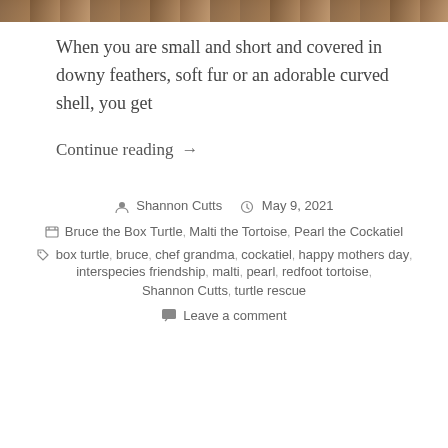[Figure (photo): Partial photo strip at top of page showing animal fur or feathers in brown and tan tones]
When you are small and short and covered in downy feathers, soft fur or an adorable curved shell, you get
Continue reading →
Shannon Cutts   May 9, 2021
Bruce the Box Turtle, Malti the Tortoise, Pearl the Cockatiel
box turtle, bruce, chef grandma, cockatiel, happy mothers day, interspecies friendship, malti, pearl, redfoot tortoise, Shannon Cutts, turtle rescue
Leave a comment